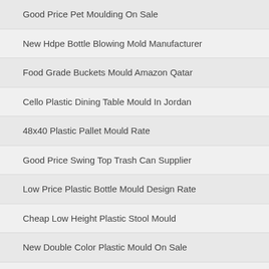Good Price Pet Moulding On Sale
New Hdpe Bottle Blowing Mold Manufacturer
Food Grade Buckets Mould Amazon Qatar
Cello Plastic Dining Table Mould In Jordan
48x40 Plastic Pallet Mould Rate
Good Price Swing Top Trash Can Supplier
Low Price Plastic Bottle Mould Design Rate
Cheap Low Height Plastic Stool Mould
New Double Color Plastic Mould On Sale
Order Hospital Trash Can Dealer